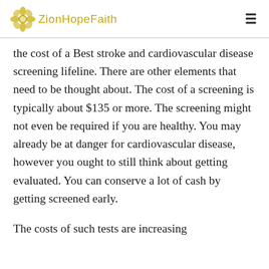ZionHopeFaith
the cost of a Best stroke and cardiovascular disease screening lifeline. There are other elements that need to be thought about. The cost of a screening is typically about $135 or more. The screening might not even be required if you are healthy. You may already be at danger for cardiovascular disease, however you ought to still think about getting evaluated. You can conserve a lot of cash by getting screened early.
The costs of such tests are increasing